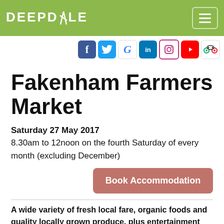DEEPDALE
[Figure (logo): Social media icons: Facebook, Twitter, Google, LinkedIn, Instagram, YouTube, TripAdvisor]
Fakenham Farmers Market
Saturday 27 May 2017
8.30am to 12noon on the fourth Saturday of every month (excluding December)
Book Accommodation
A wide variety of fresh local fare, organic foods and quality locally grown produce, plus entertainment and a great atmosphere make this a wonderfully traditional